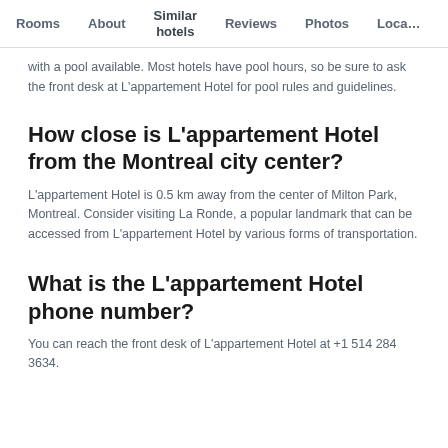Rooms  About  Similar hotels  Reviews  Photos  Loca…
with a pool available. Most hotels have pool hours, so be sure to ask the front desk at L'appartement Hotel for pool rules and guidelines.
How close is L'appartement Hotel from the Montreal city center?
L'appartement Hotel is 0.5 km away from the center of Milton Park, Montreal. Consider visiting La Ronde, a popular landmark that can be accessed from L'appartement Hotel by various forms of transportation.
What is the L'appartement Hotel phone number?
You can reach the front desk of L'appartement Hotel at +1 514 284 3634.